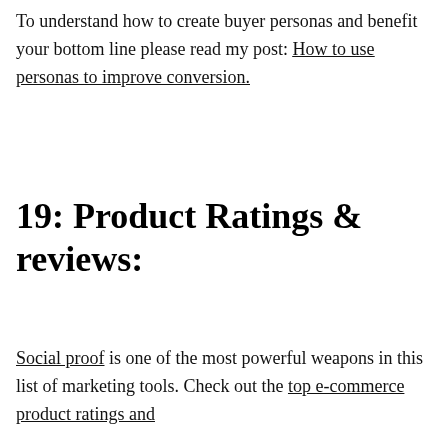To understand how to create buyer personas and benefit your bottom line please read my post: How to use personas to improve conversion.
19: Product Ratings & reviews:
Social proof is one of the most powerful weapons in this list of marketing tools. Check out the top e-commerce product ratings and